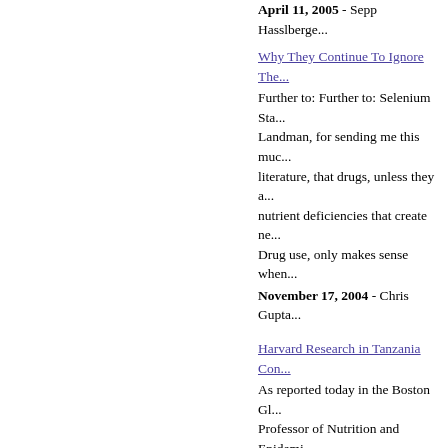April 11, 2005 - Sepp Hasslberge...
Why They Continue To Ignore The...
Further to: Further to: Selenium Sta... Landman, for sending me this muc... literature, that drugs, unless they a... nutrient deficiencies that create ne... Drug use, only makes sense when...
November 17, 2004 - Chris Gupta...
Harvard Research in Tanzania Con...
As reported today in the Boston Gl... Professor of Nutrition and Epidemi... multivitamin supplement containing... the progression from 'HIV infection... England Journal of Medicine and...
July 01, 2004 - Sepp Hasslberger
AZT, Nevirapine: Do Anti-Retrovira...
Nevirapine has been in the news re... to report numerous serious side eff... reducing HIV transmission from pre... include a control group of mothers ... health authorities thought so, beca...
February 10, 2005 - Sepp Hasslbe...